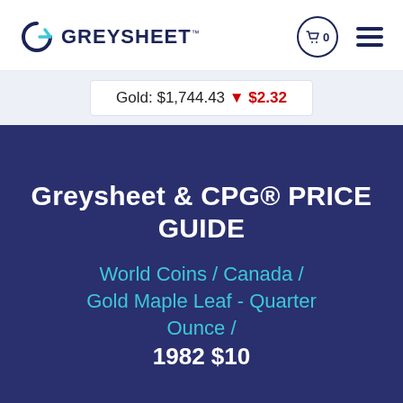[Figure (logo): Greysheet logo with stylized G icon and GREYSHEET wordmark]
Gold: $1,744.43 ▼ $2.32
Greysheet & CPG® PRICE GUIDE
World Coins / Canada / Gold Maple Leaf - Quarter Ounce / 1982 $10